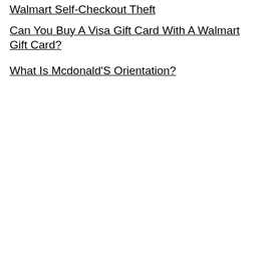Walmart Self-Checkout Theft
Can You Buy A Visa Gift Card With A Walmart Gift Card?
What Is Mcdonald'S Orientation?